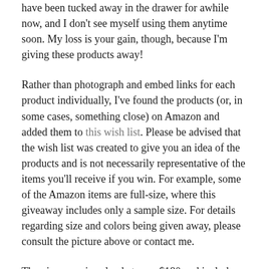have been tucked away in the drawer for awhile now, and I don't see myself using them anytime soon. My loss is your gain, though, because I'm giving these products away!
Rather than photograph and embed links for each product individually, I've found the products (or, in some cases, something close) on Amazon and added them to this wish list. Please be advised that the wish list was created to give you an idea of the products and is not necessarily representative of the items you'll receive if you win. For example, some of the Amazon items are full-size, where this giveaway includes only a sample size. For details regarding size and colors being given away, please consult the picture above or contact me.
The giveaway is valued at over $180 and includes the following:
Matrix / Oil Wonders Color Caring Oil / egyptian